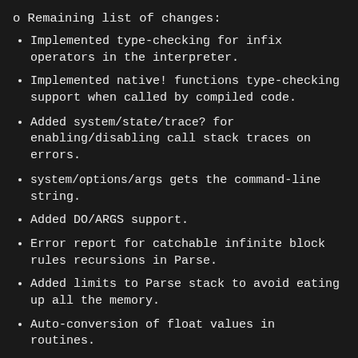o Remaining list of changes:
Implemented type-checking for infix operators in the interpreter.
Implemented native! functions type-checking support when called by compiled code.
Added system/state/trace? for enabling/disabling call stack traces on errors.
system/options/args gets the command-line string.
Added DO/ARGS support.
Error report for catchable infinite block rules recursions in Parse.
Added limits to Parse stack to avoid eating up all the memory.
Auto-conversion of float values in routines.